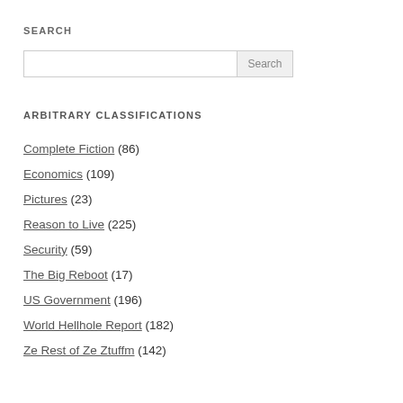SEARCH
Search input box with Search button
ARBITRARY CLASSIFICATIONS
Complete Fiction (86)
Economics (109)
Pictures (23)
Reason to Live (225)
Security (59)
The Big Reboot (17)
US Government (196)
World Hellhole Report (182)
Ze Rest of Ze Ztuffm (142)